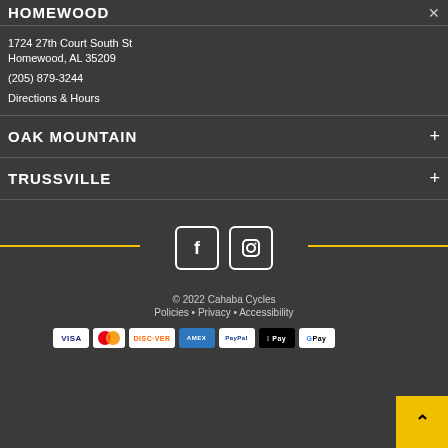HOMEWOOD ×
1724 27th Court South St
Homewood, AL 35209
(205) 879-3244
Directions & Hours
OAK MOUNTAIN +
TRUSSVILLE +
[Figure (logo): Facebook and Instagram social media icons with yellow decorative lines on either side]
© 2022 Cahaba Cycles
Policies • Privacy • Accessibility
[Figure (other): Payment method badges: VISA, Mastercard, Discover, American Express, PayPal, Apple Pay, Google Pay]